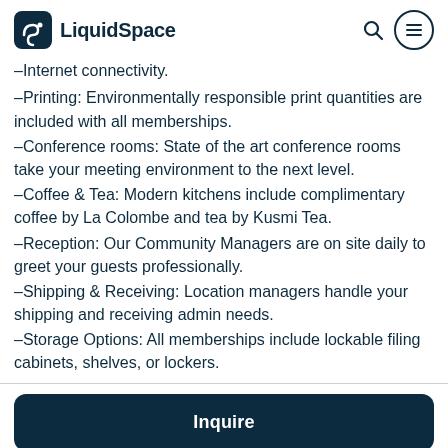LiquidSpace
–Internet connectivity.
–Printing: Environmentally responsible print quantities are included with all memberships.
–Conference rooms: State of the art conference rooms take your meeting environment to the next level.
–Coffee & Tea: Modern kitchens include complimentary coffee by La Colombe and tea by Kusmi Tea.
–Reception: Our Community Managers are on site daily to greet your guests professionally.
–Shipping & Receiving: Location managers handle your shipping and receiving admin needs.
–Storage Options: All memberships include lockable filing cabinets, shelves, or lockers.
Inquire